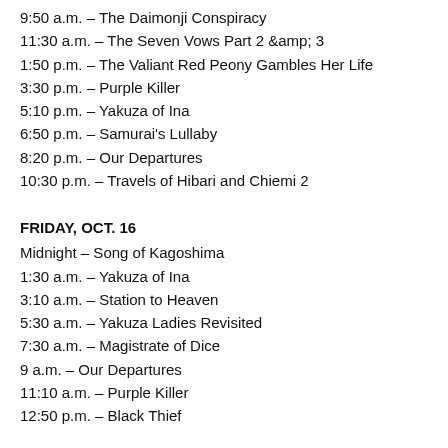9:50 a.m. – The Daimonji Conspiracy
11:30 a.m. – The Seven Vows Part 2 &amp; 3
1:50 p.m. – The Valiant Red Peony Gambles Her Life
3:30 p.m. – Purple Killer
5:10 p.m. – Yakuza of Ina
6:50 p.m. – Samurai's Lullaby
8:20 p.m. – Our Departures
10:30 p.m. – Travels of Hibari and Chiemi 2
FRIDAY, OCT. 16
Midnight – Song of Kagoshima
1:30 a.m. – Yakuza of Ina
3:10 a.m. – Station to Heaven
5:30 a.m. – Yakuza Ladies Revisited
7:30 a.m. – Magistrate of Dice
9 a.m. – Our Departures
11:10 a.m. – Purple Killer
12:50 p.m. – Black Thief